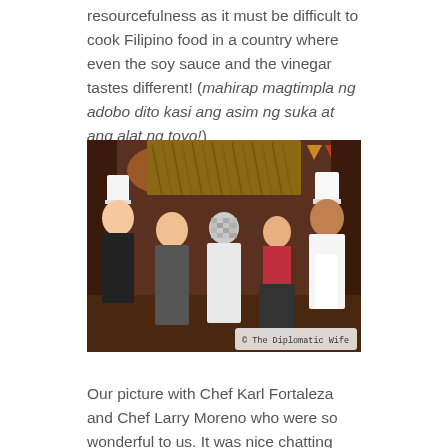resourcefulness as it must be difficult to cook Filipino food in a country where even the soy sauce and the vinegar tastes different! (mahirap magtimpla ng adobo dito kasi ang asim ng suka at ang alat ng toyo!)
[Figure (photo): Group photo of five people in a restaurant setting with a thatched roof decoration. Two men wearing white chef's hats and uniforms flank a group. One person in the center has their face pixelated. A watermark reads '© The Diplomatic Wife' in the bottom right corner.]
Our picture with Chef Karl Fortaleza and Chef Larry Moreno who were so wonderful to us. It was nice chatting with them after our meal and they were so nice they even sent me